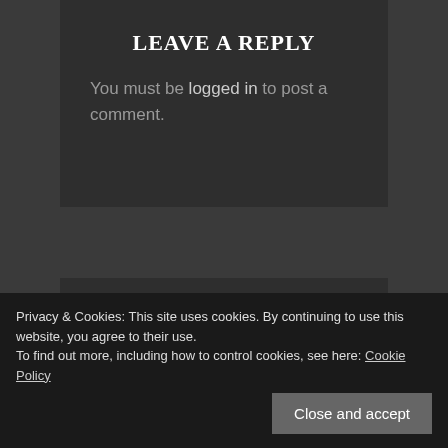LEAVE A REPLY
You must be logged in to post a comment.
TOP POSTS & PAGES
Privacy & Cookies: This site uses cookies. By continuing to use this website, you agree to their use.
To find out more, including how to control cookies, see here: Cookie Policy
failing patients who are left 'in